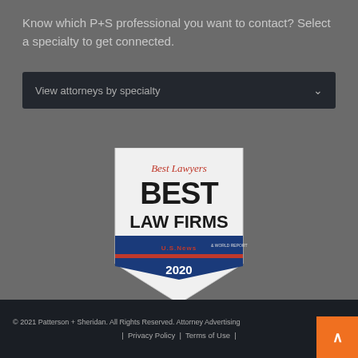Know which P+S professional you want to contact? Select a specialty to get connected.
View attorneys by specialty
[Figure (logo): Best Lawyers Best Law Firms U.S. News & World Report 2020 badge]
© 2021 Patterson + Sheridan. All Rights Reserved. Attorney Advertising | Privacy Policy | Terms of Use |